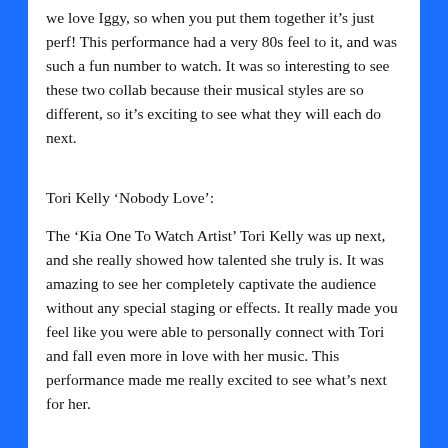we love Iggy, so when you put them together it’s just perf! This performance had a very 80s feel to it, and was such a fun number to watch. It was so interesting to see these two collab because their musical styles are so different, so it’s exciting to see what they will each do next.
Tori Kelly ‘Nobody Love’:
The ‘Kia One To Watch Artist’ Tori Kelly was up next, and she really showed how talented she truly is. It was amazing to see her completely captivate the audience without any special staging or effects. It really made you feel like you were able to personally connect with Tori and fall even more in love with her music. This performance made me really excited to see what’s next for her.